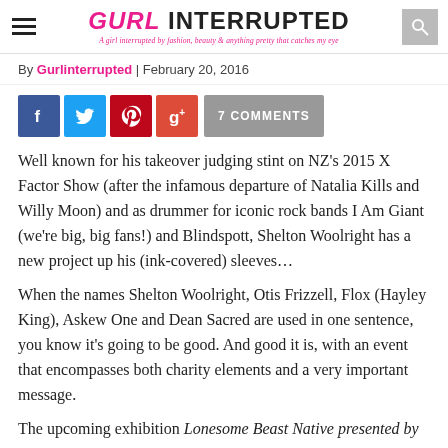GURL INTERRUPTED — A girl interrupted by fashion, beauty & anything pretty that catches my eye
By Gurlinterrupted | February 20, 2016
[Figure (infographic): Social share buttons: Facebook, Twitter, Pinterest, Google+, and 7 COMMENTS button]
Well known for his takeover judging stint on NZ's 2015 X Factor Show (after the infamous departure of Natalia Kills and Willy Moon) and as drummer for iconic rock bands I Am Giant (we're big, big fans!) and Blindspott, Shelton Woolright has a new project up his (ink-covered) sleeves…
When the names Shelton Woolright, Otis Frizzell, Flox (Hayley King), Askew One and Dean Sacred are used in one sentence, you know it's going to be good. And good it is, with an event that encompasses both charity elements and a very important message.
The upcoming exhibition Lonesome Beast Native presented by